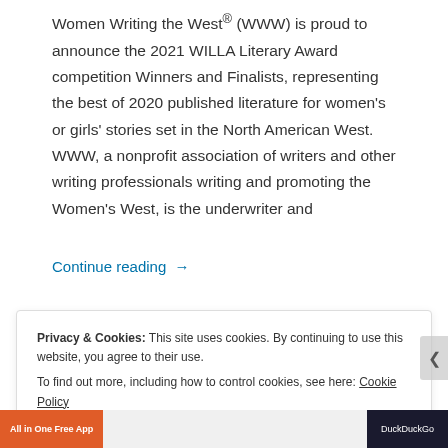Women Writing the West® (WWW) is proud to announce the 2021 WILLA Literary Award competition Winners and Finalists, representing the best of 2020 published literature for women's or girls' stories set in the North American West. WWW, a nonprofit association of writers and other writing professionals writing and promoting the Women's West, is the underwriter and
Continue reading →
Privacy & Cookies: This site uses cookies. By continuing to use this website, you agree to their use.
To find out more, including how to control cookies, see here: Cookie Policy
Close and accept